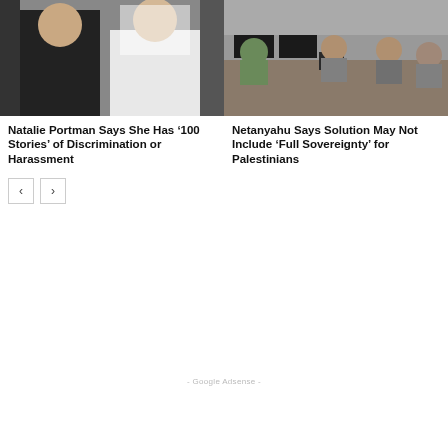[Figure (photo): Couple at wedding ceremony, man in black suit, woman in white wedding dress and veil]
[Figure (photo): Group of people seated at a conference table with computer monitors, appears to be a military or government setting]
Natalie Portman Says She Has ‘100 Stories’ of Discrimination or Harassment
Netanyahu Says Solution May Not Include ‘Full Sovereignty’ for Palestinians
- Google Adsense -